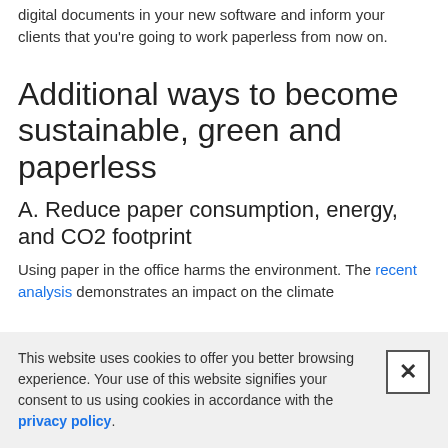digital documents in your new software and inform your clients that you're going to work paperless from now on.
Additional ways to become sustainable, green and paperless
A. Reduce paper consumption, energy, and CO2 footprint
Using paper in the office harms the environment. The recent analysis demonstrates an impact on the climate
This website uses cookies to offer you better browsing experience. Your use of this website signifies your consent to us using cookies in accordance with the privacy policy.